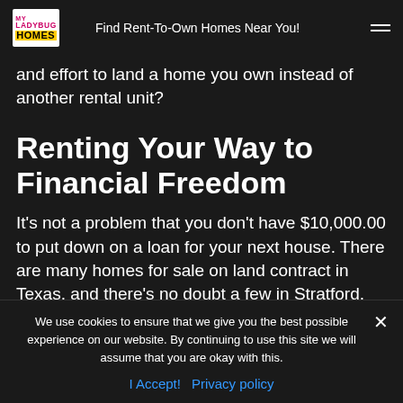My Ladybug Homes — Find Rent-To-Own Homes Near You!
and effort to land a home you own instead of another rental unit?
Renting Your Way to Financial Freedom
It's not a problem that you don't have $10,000.00 to put down on a loan for your next house. There are many homes for sale on land contract in Texas, and there's no doubt a few in Stratford, but you need to start looking for them and not just apartments and condos. If you don't ask the right questions, you'll
We use cookies to ensure that we give you the best possible experience on our website. By continuing to use this site we will assume that you are okay with this.
I Accept!  Privacy policy